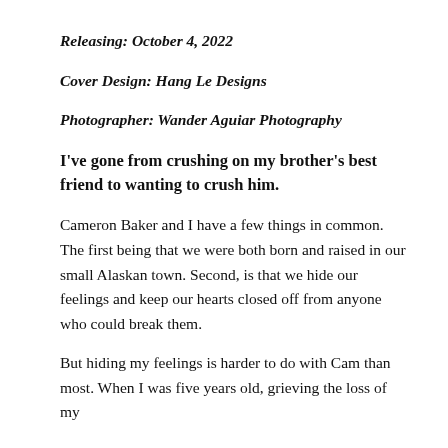Releasing: October 4, 2022
Cover Design: Hang Le Designs
Photographer: Wander Aguiar Photography
I've gone from crushing on my brother's best friend to wanting to crush him.
Cameron Baker and I have a few things in common. The first being that we were both born and raised in our small Alaskan town. Second, is that we hide our feelings and keep our hearts closed off from anyone who could break them.
But hiding my feelings is harder to do with Cam than most. When I was five years old, grieving the loss of my